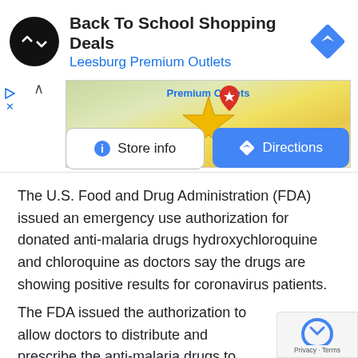[Figure (screenshot): Google ad banner for Back To School Shopping Deals at Leesburg Premium Outlets with logo, direction icon, map thumbnail, Store info and Directions buttons]
The U.S. Food and Drug Administration (FDA) issued an emergency use authorization for donated anti-malaria drugs hydroxychloroquine and chloroquine as doctors say the drugs are showing positive results for coronavirus patients.
The FDA issued the authorization to allow doctors to distribute and prescribe the anti-malaria drugs to hospitalized teen and adult patients who have coronavirus, the Department of Health and Human...